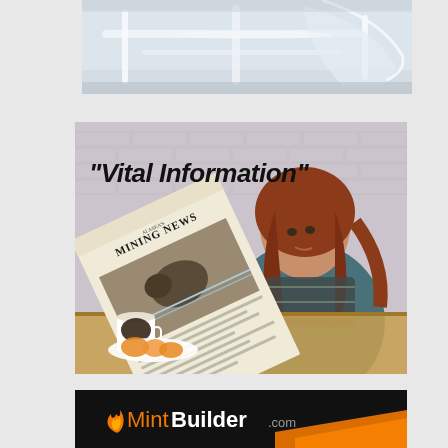[Figure (photo): Top portion of image showing white/chrome modern furniture or equipment against a light background]
[Figure (photo): Woman with red hair sitting at a wooden table reading a newspaper called 'Mining News' with a bear on the front page. Text overlay reads "Vital Information" in bold italic black font. A white coffee cup and a plate with orange slices are on the table. Brick wall background.]
[Figure (logo): MintBuilder.com logo on dark/black background with orange flame icon and orange/white text]